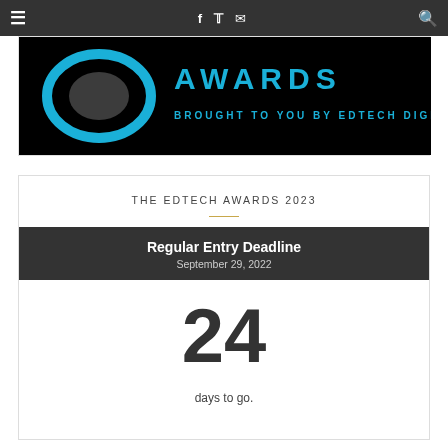≡  f  𝕿  ✉  🔍
[Figure (illustration): EdTech Awards banner on black background with blue text reading 'AWARDS' and 'BROUGHT TO YOU BY EDTECH DIGEST']
THE EDTECH AWARDS 2023
Regular Entry Deadline
September 29, 2022
24
days to go.